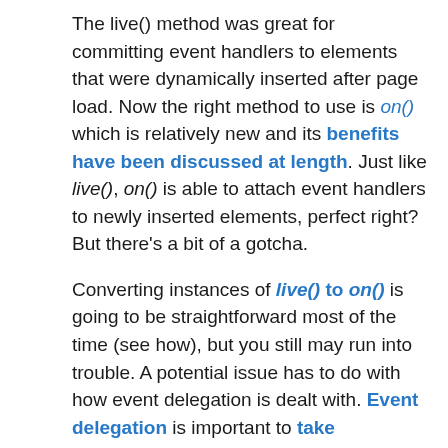The live() method was great for committing event handlers to elements that were dynamically inserted after page load. Now the right method to use is on() which is relatively new and its benefits have been discussed at length. Just like live(), on() is able to attach event handlers to newly inserted elements, perfect right? But there's a bit of a gotcha.
Converting instances of live() to on() is going to be straightforward most of the time (see how), but you still may run into trouble. A potential issue has to do with how event delegation is dealt with. Event delegation is important to take advantage of because it replaces the need to add a multitude event handlers attached to separate elements by applying one